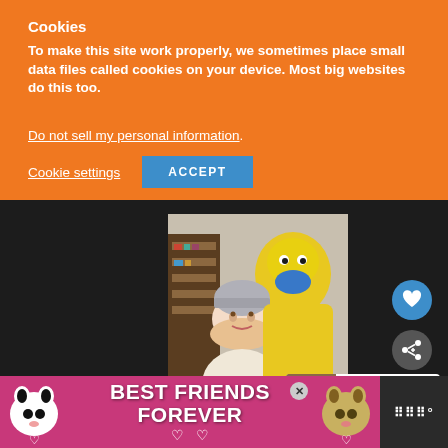Cookies
To make this site work properly, we sometimes place small data files called cookies on your device. Most big websites do this too.
Do not sell my personal information.
Cookie settings  ACCEPT
[Figure (photo): Person wearing a knit beanie hat posing with a large yellow stuffed animal costume character with a blue mask, indoors near a bookshelf]
[Figure (infographic): What's Next card showing a thumbnail of a person with glasses and text 'WHAT'S NEXT -> Here's What Happened to...']
[Figure (infographic): Advertisement banner with cat images reading BEST FRIENDS FOREVER with heart symbols]